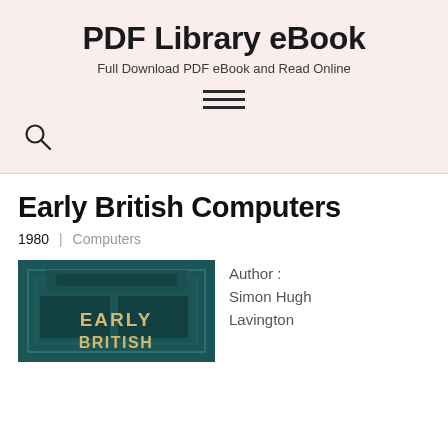PDF Library eBook
Full Download PDF eBook and Read Online
[Figure (other): Hamburger menu icon — three horizontal lines]
[Figure (other): Search/magnifying glass icon]
Early British Computers
1980 | Computers
[Figure (photo): Book cover of Early British Computers showing teal/dark architectural detail with text EARLY BRITISH in large beige letters]
Author : Simon Hugh Lavington